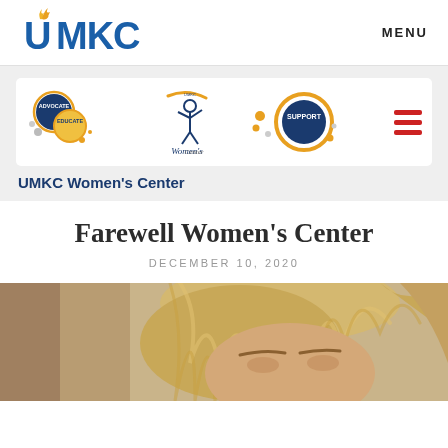[Figure (logo): UMKC university logo in blue and gold]
MENU
[Figure (logo): UMKC Women's Center banner with ADVOCATE, EDUCATE, SUPPORT circles and figure logo]
UMKC Women's Center
Farewell Women's Center
DECEMBER 10, 2020
[Figure (photo): Close-up photo of a woman with blonde hair looking down]